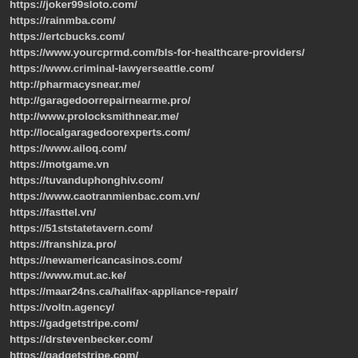https://joker99sloto.com/
https://rainmba.com/
https://ertcbucks.com/
https://www.yourcprmd.com/bls-for-healthcare-providers/
https://www.criminal-lawyerseattle.com/
http://pharmacysnear.me/
http://garagedoorrepairnearme.pro/
http://www.prolocksmithnear.me/
http://localgaragedoorexperts.com/
https://www.ailoq.com/
https://motgame.vn
https://tuvanduphonghiv.com/
https://www.caotranmienbac.com.vn/
https://fasttel.vn/
https://51ststatetavern.com/
https://franshiza.pro/
https://newamericancasinos.com/
https://www.mut.ac.ke/
https://maar24ns.ca/halifax-appliance-repair/
https://voltn.agency/
https://gadgetstripe.com/
https://drstevenbecker.com/
https://gadgetstripe.com/